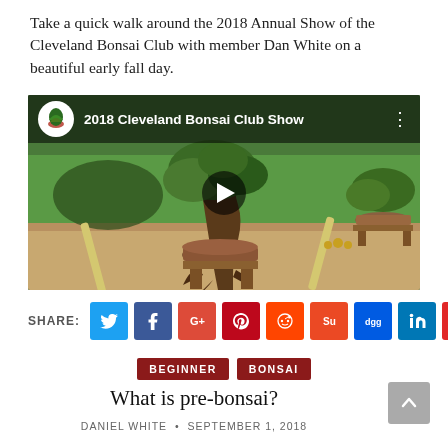Take a quick walk around the 2018 Annual Show of the Cleveland Bonsai Club with member Dan White on a beautiful early fall day.
[Figure (screenshot): YouTube video thumbnail showing the 2018 Cleveland Bonsai Club Show, with a bonsai tree on a wooden stand outdoors on a grass lawn. Video title and logo are visible in the top bar with a play button in the center.]
[Figure (other): Social media share bar with buttons for Twitter, Facebook, Google+, Pinterest, Reddit, StumbleUpon, Digg, LinkedIn, and Flipboard]
BEGINNER  BONSAI
What is pre-bonsai?
DANIEL WHITE  •  SEPTEMBER 1, 2018